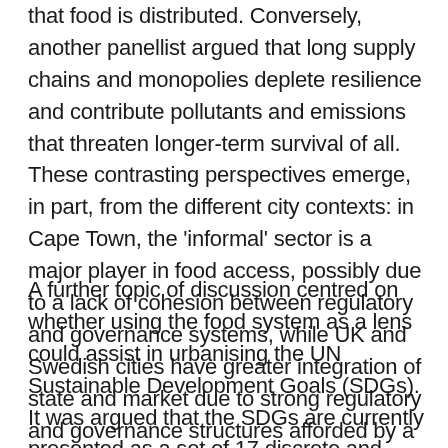that food is distributed. Conversely, another panellist argued that long supply chains and monopolies deplete resilience and contribute pollutants and emissions that threaten longer-term survival of all. These contrasting perspectives emerge, in part, from the different city contexts: in Cape Town, the 'informal' sector is a major player in food access, possibly due to a lack of cohesion between regulatory and governance systems, while UK and Swedish cities have greater integration of state and market due to strong regulatory and governance structures afforded by a robust tax base.
A further topic of discussion centred on whether using the food system as a lens could assist in urbanising the UN Sustainable Development Goals (SDGs). It was argued that the SDGs are currently presented as a set of 17 discrete and independent 'boxes' that can be addressed without reference to each other. This is clearly at odds with the aim of the SDGs to promote greater integration and